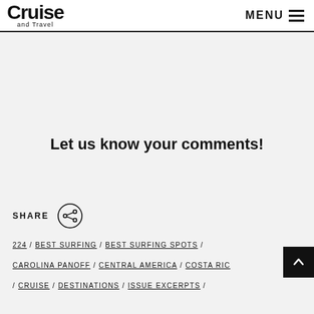Cruise and Travel / MENU
Let us know your comments!
SHARE
224 / BEST SURFING / BEST SURFING SPOTS / CAROLINA PANOFF / CENTRAL AMERICA / COSTA RICA / CRUISE / DESTINATIONS / ISSUE EXCERPTS /